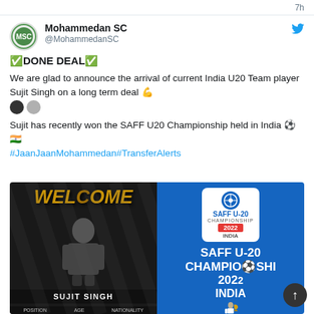7h
[Figure (screenshot): Mohammedan SC Twitter/X profile avatar — circular green and white crest logo]
Mohammedan SC
@MohammedanSC
✅DONE DEAL✅
We are glad to announce the arrival of current India U20 Team player Sujit Singh on a long term deal 💪
Sujit has recently won the SAFF U20 Championship held in India ⚽🇮🇳
#JaanJaanMohammedan#TransferAlerts
[Figure (photo): Two-panel image: left panel shows dark background with 'WELCOME' text in gold/yellow and player photo of Sujit Singh with name at bottom; right panel shows SAFF U-20 Championship 2022 India branding with player holding trophy]